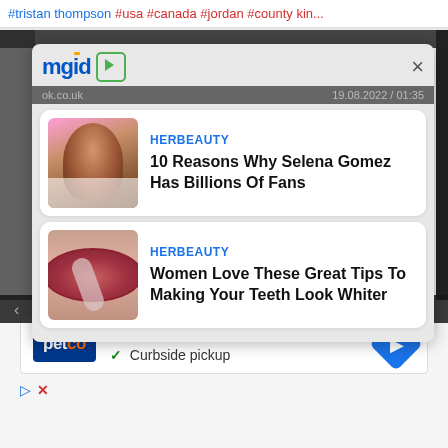#tristan thompson #usa #canada #jordan #county kin...
[Figure (screenshot): mgid content recommendation popup with two article cards: 1) HERBEAUTY - 10 Reasons Why Selena Gomez Has Billions Of Fans, 2) HERBEAUTY - Women Love These Great Tips To Making Your Teeth Look Whiter]
HERBEAUTY
10 Reasons Why Selena Gomez Has Billions Of Fans
HERBEAUTY
Women Love These Great Tips To Making Your Teeth Look Whiter
[Figure (screenshot): Petco advertisement showing In-store shopping and Curbside pickup checkmarks with navigation icon]